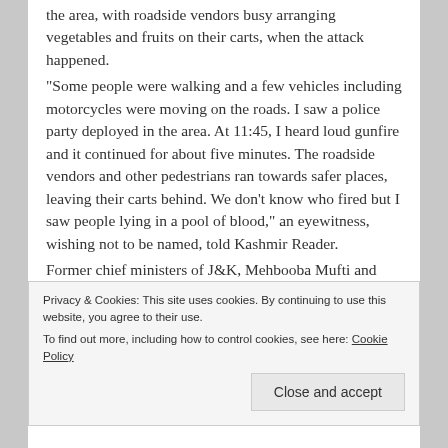the area, with roadside vendors busy arranging vegetables and fruits on their carts, when the attack happened. “Some people were walking and a few vehicles including motorcycles were moving on the roads. I saw a police party deployed in the area. At 11:45, I heard loud gunfire and it continued for about five minutes. The roadside vendors and other pedestrians ran towards safer places, leaving their carts behind. We don’t know who fired but I saw people lying in a pool of blood,” an eyewitness, wishing not to be named, told Kashmir Reader. Former chief ministers of J&K, Mehbooba Mufti and Umar Abdullah, and several other political leaders condemned the attack. Mehbooba while talking to reporters on the sidelines
Privacy & Cookies: This site uses cookies. By continuing to use this website, you agree to their use. To find out more, including how to control cookies, see here: Cookie Policy
Close and accept